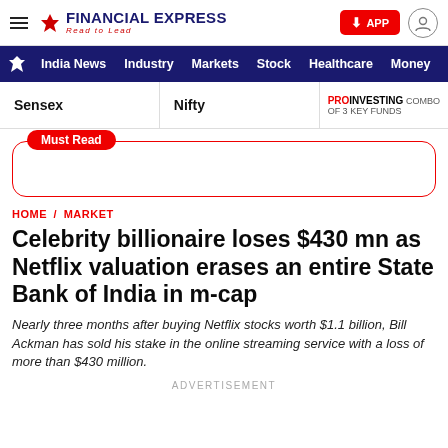FINANCIAL EXPRESS — Read to Lead
India News  Industry  Markets  Stock  Healthcare  Money
Sensex   Nifty   PROINVESTING COMBO OF 3 KEY FUNDS
Must Read
HOME / MARKET
Celebrity billionaire loses $430 mn as Netflix valuation erases an entire State Bank of India in m-cap
Nearly three months after buying Netflix stocks worth $1.1 billion, Bill Ackman has sold his stake in the online streaming service with a loss of more than $430 million.
ADVERTISEMENT